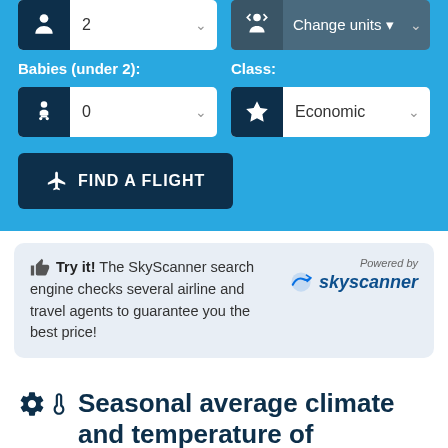[Figure (screenshot): Flight search widget UI showing Babies (under 2) dropdown set to 0, Class dropdown set to Economic, and a dark navy FIND A FLIGHT button. Above right is a Change units dropdown.]
👍 Try it! The SkyScanner search engine checks several airline and travel agents to guarantee you the best price!
[Figure (logo): Powered by skyscanner logo]
⚙️🌡 Seasonal average climate and temperature of Singapore in november
Check below seasonal norms These statistics are